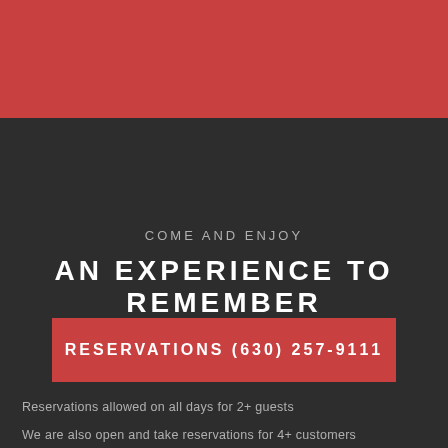[Figure (other): Red decorative banner/header background block at top of page]
COME AND ENJOY
AN EXPERIENCE TO REMEMBER
RESERVATIONS (630) 257-9111
Reservations allowed on all days for 2+ guests
We are also open and take reservations for 4+ customers